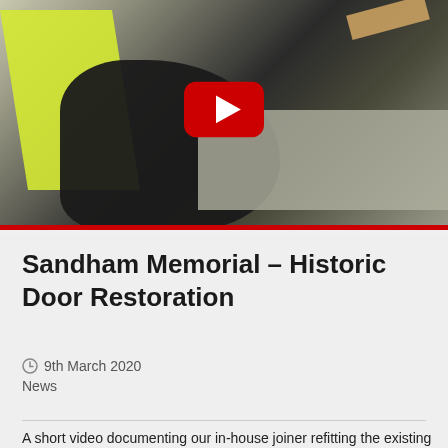[Figure (screenshot): Video thumbnail showing a worker in a yellow hi-vis vest working with wood/joinery materials on a concrete surface, with a YouTube play button overlay and a red bar at the bottom]
Sandham Memorial – Historic Door Restoration
9th March 2020
News
A short video documenting our in-house joiner refitting the existing